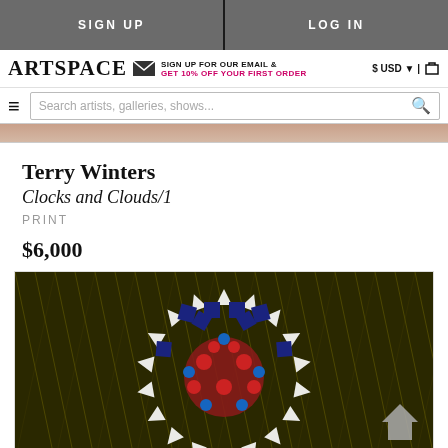SIGN UP | LOG IN
ARTSPACE — SIGN UP FOR OUR EMAIL & GET 10% OFF YOUR FIRST ORDER — $ USD | cart
Search artists, galleries, shows...
[Figure (photo): Partial view of artwork at top of page]
Terry Winters
Clocks and Clouds/1
PRINT
$6,000
[Figure (photo): Terry Winters print 'Clocks and Clouds/1' — colorful abstract mandala-like pattern with geometric mosaic shapes in navy, red, blue, and white on dark olive/black background]